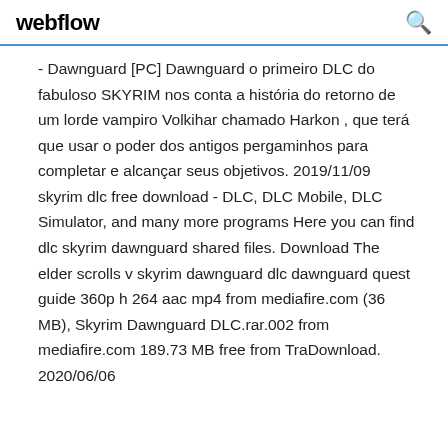webflow
- Dawnguard [PC] Dawnguard o primeiro DLC do fabuloso SKYRIM nos conta a história do retorno de um lorde vampiro Volkihar chamado Harkon , que terá que usar o poder dos antigos pergaminhos para completar e alcançar seus objetivos. 2019/11/09 skyrim dlc free download - DLC, DLC Mobile, DLC Simulator, and many more programs Here you can find dlc skyrim dawnguard shared files. Download The elder scrolls v skyrim dawnguard dlc dawnguard quest guide 360p h 264 aac mp4 from mediafire.com (36 MB), Skyrim Dawnguard DLC.rar.002 from mediafire.com 189.73 MB free from TraDownload. 2020/06/06